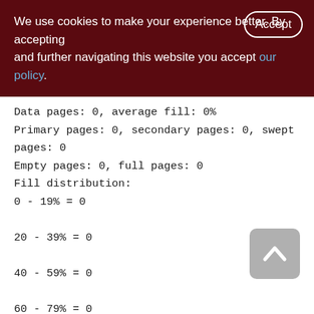We use cookies to make your experience better. By accepting and further navigating this website you accept our policy.
Data pages: 0, average fill: 0%
Primary pages: 0, secondary pages: 0, swept pages: 0
Empty pages: 0, full pages: 0
Fill distribution:
0 - 19% = 0
20 - 39% = 0
40 - 59% = 0
60 - 79% = 0
80 - 99% = 0

Index TMP_SHOPCART_UNQ (0)